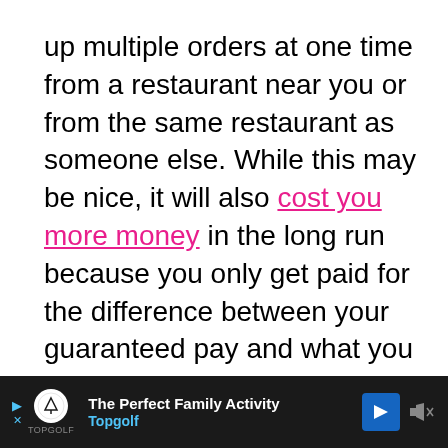up multiple orders at one time from a restaurant near you or from the same restaurant as someone else. While this may be nice, it will also cost you more money in the long run because you only get paid for the difference between your guaranteed pay and what you earned.

You can drive for Doordash during off-peak hours as well. While you can earn more in off-peak hours, you may have to wait for orders, which is time well spent. For the same time, you may find that other side-hustles are paying better for your free time. Make sure to choose orders from popular delivery areas, as they pay better than th... will so Ch...
[Figure (infographic): Advertisement banner at the bottom of the page for Topgolf with text 'The Perfect Family Activity' and 'Topgolf', displayed on a dark background with play, logo, navigation and mute icons.]